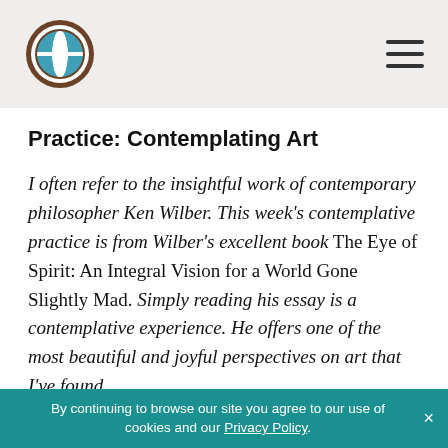[Logo] [Hamburger menu]
Practice: Contemplating Art
I often refer to the insightful work of contemporary philosopher Ken Wilber. This week’s contemplative practice is from Wilber’s excellent book The Eye of Spirit: An Integral Vision for a World Gone Slightly Mad. Simply reading his essay is a contemplative experience. He offers one of the most beautiful and joyful perspectives on art that I’ve found.
Some of the great modern philosophers, Schelling to Schiller to Schopenhauer, have all
By continuing to browse our site you agree to our use of cookies and our Privacy Policy. ×